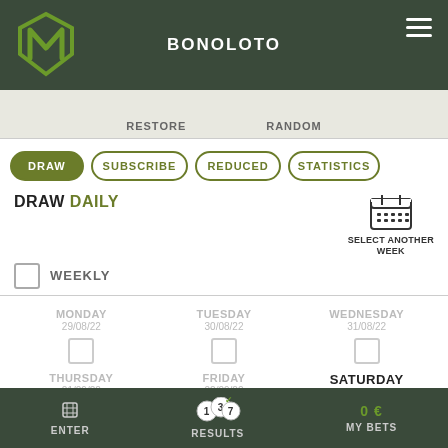BONOLOTO
RESTORE  RANDOM
DRAW  SUBSCRIBE  REDUCED  STATISTICS
DRAW DAILY
SELECT ANOTHER WEEK
WEEKLY
MONDAY 29/08/22  TUESDAY 30/08/22  WEDNESDAY 31/08/22  THURSDAY 01/09/22  FRIDAY 02/09/22  SATURDAY 03/09/22
ENTER  RESULTS  0 €  MY BETS